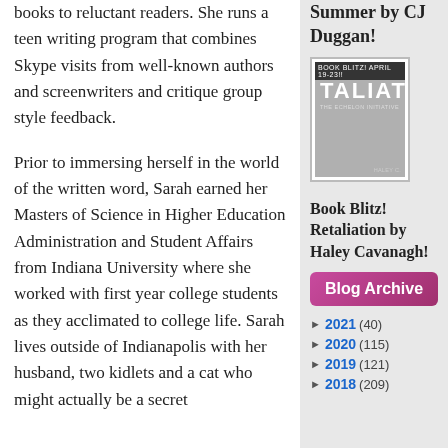books to reluctant readers. She runs a teen writing program that combines Skype visits from well-known authors and screenwriters and critique group style feedback.
Prior to immersing herself in the world of the written word, Sarah earned her Masters of Science in Higher Education Administration and Student Affairs from Indiana University where she worked with first year college students as they acclimated to college life. Sarah lives outside of Indianapolis with her husband, two kidlets and a cat who might actually be a secret
Summer by CJ Duggan!
[Figure (photo): Book cover showing RETALIATION THE ECHELON INITIATIVE, with BOOK BLITZ! APRIL 19-23!! text at top, grey toned cover]
Book Blitz! Retaliation by Haley Cavanagh!
Blog Archive
► 2021 (40)
► 2020 (115)
► 2019 (121)
► 2018 (209)